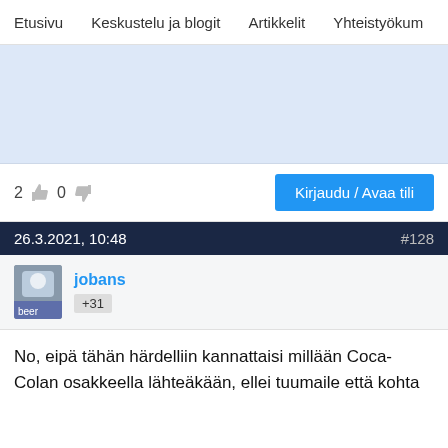Etusivu   Keskustelu ja blogit   Artikkelit   Yhteistyökum
[Figure (other): Blue advertisement/banner area placeholder]
2 👍 0 👎
Kirjaudu / Avaa tili
26.3.2021, 10:48   #128
jobans
+31
No, eipä tähän härdelliin kannattaisi millään Coca-Colan osakkeella lähteäkään, ellei tuumaile että kohta